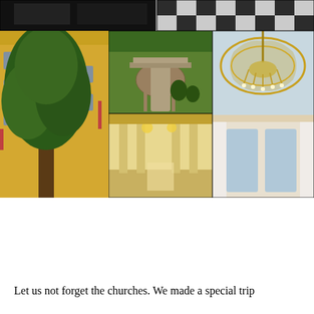[Figure (photo): Collage of 5 photographs: top row shows a dark interior room scene and a black-and-white checkered floor; bottom row shows a large tree in front of a yellow ochre building, a bird's-eye view of a formal garden courtyard, an ornate gilded hall with chandeliers, and a baroque decorated ceiling/chandelier detail.]
Let us not forget the churches. We made a special trip